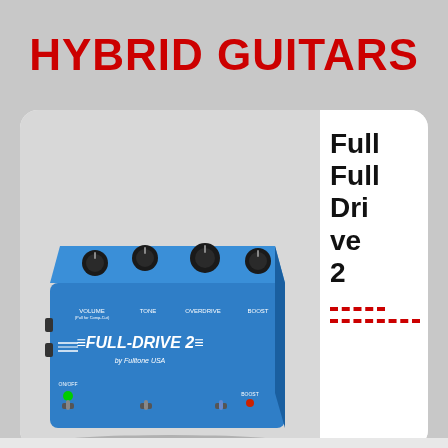HYBRID GUITARS
[Figure (photo): Blue Fulltone Full-Drive 2 guitar effects pedal with four black knobs labeled VOLUME, TONE, OVERDRIVE, BOOST and two toggle switches and LED indicators on the bottom]
Full Drive 2